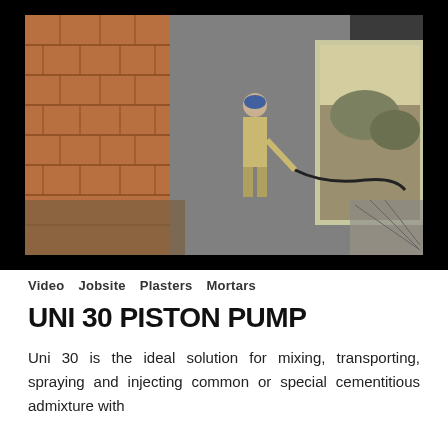[Figure (photo): A worker in a tunnel-like corridor with brick walls on the left and concrete walls, holding a hose, spraying or injecting material. Natural light visible at the far end of the corridor.]
Video  Jobsite  Plasters  Mortars
UNI 30 PISTON PUMP
Uni 30 is the ideal solution for mixing, transporting, spraying and injecting common or special cementitious admixture with